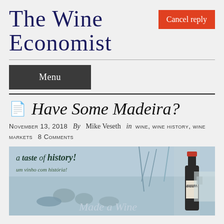The Wine Economist
Cancel reply
Menu
Have Some Madeira?
November 13, 2018 By Mike Veseth in WINE, WINE HISTORY, WINE MARKETS 8 Comments
[Figure (photo): Madeira wine promotional image showing a wine bottle labeled MADEIRA against a background of historical black-and-white imagery of a harbor/dock scene. Text overlay reads 'a taste of history!' and 'um vinho com historia!' and 'Madeira Wine' at the bottom.]